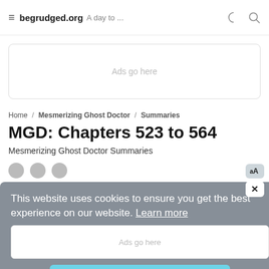≡ begrudged.org A day to ...
[Figure (other): Ad placeholder box with text 'Ads go here']
Home / Mesmerizing Ghost Doctor / Summaries
MGD: Chapters 523 to 564
Mesmerizing Ghost Doctor Summaries
[Figure (screenshot): Cookie consent banner overlay with text 'This website uses cookies to ensure you get the best experience on our website. Learn more' and a 'Got it!' button. Also shows reading tools (AA and X close button) and a second Ads go here box.]